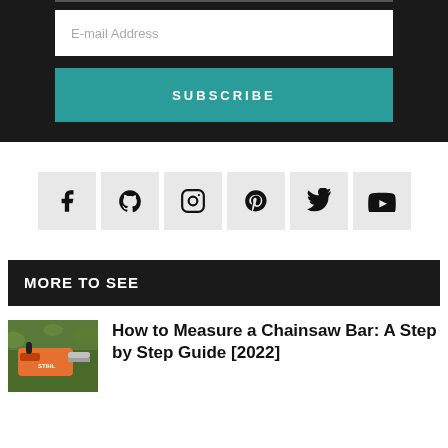E-mail Address
SUBSCRIBE
[Figure (infographic): Row of six social media icons on light grey square backgrounds: Facebook, GitHub, Instagram, Pinterest, Twitter, YouTube]
MORE TO SEE
[Figure (photo): Orange chainsaw in green foliage, with STIHL branding visible]
How to Measure a Chainsaw Bar: A Step by Step Guide [2022]